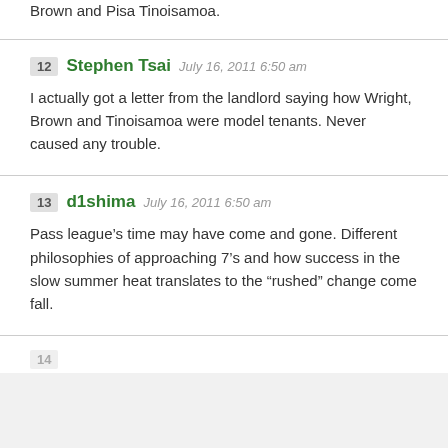Brown and Pisa Tinoisamoa.
12  Stephen Tsai  July 16, 2011 6:50 am

I actually got a letter from the landlord saying how Wright, Brown and Tinoisamoa were model tenants. Never caused any trouble.
13  d1shima  July 16, 2011 6:50 am

Pass league’s time may have come and gone. Different philosophies of approaching 7’s and how success in the slow summer heat translates to the “rushed” change come fall.